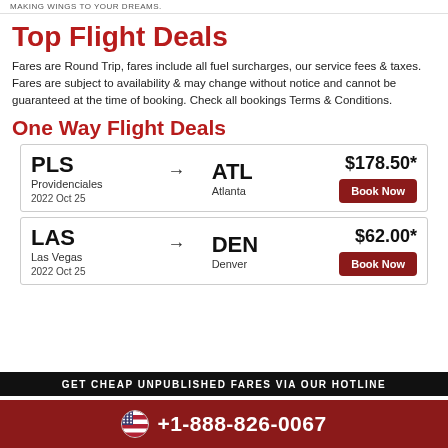MAKING WINGS TO YOUR DREAMS.
Top Flight Deals
Fares are Round Trip, fares include all fuel surcharges, our service fees & taxes. Fares are subject to availability & may change without notice and cannot be guaranteed at the time of booking. Check all bookings Terms & Conditions.
One Way Flight Deals
| From |  | To | Price |
| --- | --- | --- | --- |
| PLS Providenciales 2022 Oct 25 | → | ATL Atlanta | $178.50* |
| LAS Las Vegas 2022 Oct 25 | → | DEN Denver | $62.00* |
GET CHEAP UNPUBLISHED FARES VIA OUR HOTLINE
+1-888-826-0067